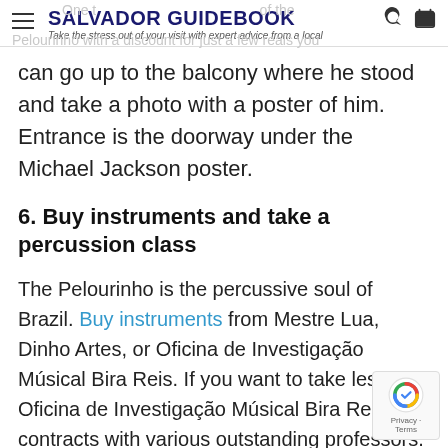SALVADOR GUIDEBOOK — Take the stress out of your visit with expert advice from a local
can go up to the balcony where he stood and take a photo with a poster of him. Entrance is the doorway under the Michael Jackson poster.
6. Buy instruments and take a percussion class
The Pelourinho is the percussive soul of Brazil. Buy instruments from Mestre Lua, Dinho Artes, or Oficina de Investigação Músical Bira Reis. If you want to take lessons, Oficina de Investigação Músical Bira Reis contracts with various outstanding professors.